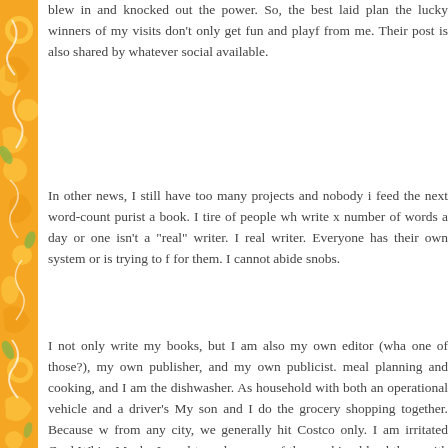[Figure (illustration): Decorative left border with orange/yellow background featuring swirling floral/citrus design elements in white and green]
blew in and knocked out the power. So, the best laid plan the lucky winners of my visits don't only get fun and playf from me. Their post is also shared by whatever social available.
In other news, I still have too many projects and nobody i feed the next word-count purist a book. I tire of people wh write x number of words a day or one isn't a "real" writer. I real writer. Everyone has their own system or is trying to f for them. I cannot abide snobs.
I not only write my books, but I am also my own editor (wha one of those?), my own publisher, and my own publicist. meal planning and cooking, and I am the dishwasher. As household with both an operational vehicle and a driver's My son and I do the grocery shopping together. Because w from any city, we generally hit Costco only. I am irritated Cool Whip. Maybe I need to order some of those whipp blend them with the shelf-stable whipping cream that I o